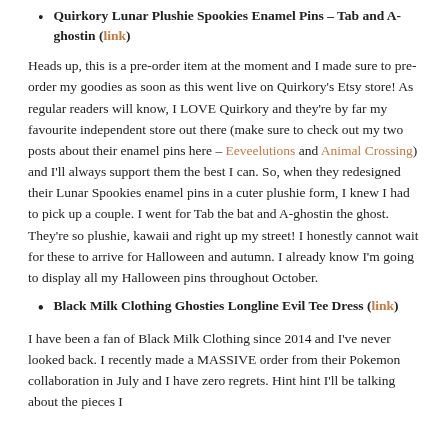Quirkory Lunar Plushie Spookies Enamel Pins – Tab and A-ghostin (link)
Heads up, this is a pre-order item at the moment and I made sure to pre-order my goodies as soon as this went live on Quirkory's Etsy store! As regular readers will know, I LOVE Quirkory and they're by far my favourite independent store out there (make sure to check out my two posts about their enamel pins here – Eeveelutions and Animal Crossing) and I'll always support them the best I can. So, when they redesigned their Lunar Spookies enamel pins in a cuter plushie form, I knew I had to pick up a couple. I went for Tab the bat and A-ghostin the ghost. They're so plushie, kawaii and right up my street! I honestly cannot wait for these to arrive for Halloween and autumn. I already know I'm going to display all my Halloween pins throughout October.
Black Milk Clothing Ghosties Longline Evil Tee Dress (link)
I have been a fan of Black Milk Clothing since 2014 and I've never looked back. I recently made a MASSIVE order from their Pokemon collaboration in July and I have zero regrets. Hint hint I'll be talking about the pieces I